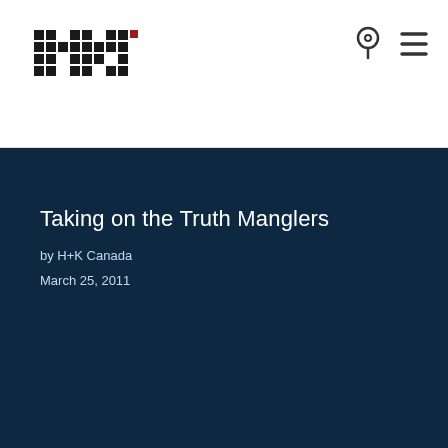[Figure (logo): H+K logo: black pixel/checker pattern with a small red square accent, top left of header]
[Figure (other): Location pin icon (outline) and hamburger menu icon (three horizontal lines), top right of header]
Taking on the Truth Manglers
by H+K Canada
March 25, 2011